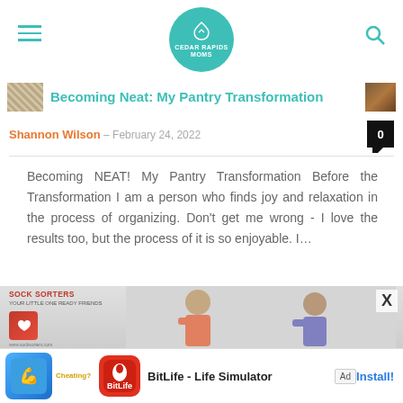Cedar Rapids Moms
Becoming Neat: My Pantry Transformation
Shannon Wilson - February 24, 2022
Becoming NEAT! My Pantry Transformation Before the Transformation I am a person who finds joy and relaxation in the process of organizing. Don't get me wrong - I love the results too, but the process of it is so enjoyable. I...
Read more
[Figure (screenshot): Advertisement banner showing Sock Sorters ad and BitLife Life Simulator app install prompt]